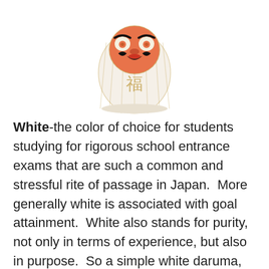[Figure (photo): A white daruma doll with orange/red face, black eyebrows and mustache markings, gold accents and striped body with a Japanese kanji character on the front.]
White-the color of choice for students studying for rigorous school entrance exams that are such a common and stressful rite of passage in Japan.  More generally white is associated with goal attainment.  White also stands for purity, not only in terms of experience, but also in purpose.  So a simple white daruma, perhaps with less gold accents than the one pictured, would be especially apropos for someone who's practicing a martial art such as karate, judo or kendo.  A white